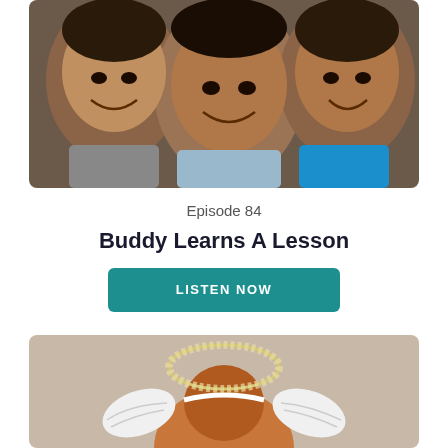[Figure (photo): Three children lying down, looking up at the camera, smiling. Two wearing blue shirts.]
Episode 84
Buddy Learns A Lesson
LISTEN NOW
[Figure (photo): Child seen from behind wearing an angel halo headband and angel wings costume on a beige background.]